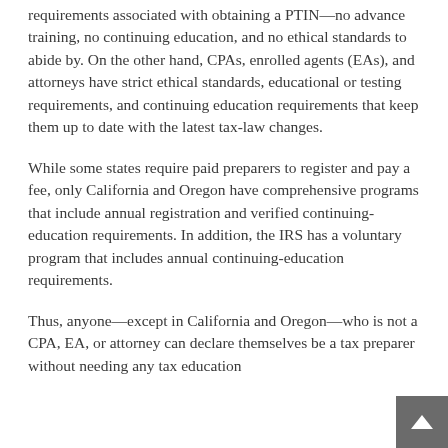requirements associated with obtaining a PTIN—no advance training, no continuing education, and no ethical standards to abide by. On the other hand, CPAs, enrolled agents (EAs), and attorneys have strict ethical standards, educational or testing requirements, and continuing education requirements that keep them up to date with the latest tax-law changes.
While some states require paid preparers to register and pay a fee, only California and Oregon have comprehensive programs that include annual registration and verified continuing-education requirements. In addition, the IRS has a voluntary program that includes annual continuing-education requirements.
Thus, anyone—except in California and Oregon—who is not a CPA, EA, or attorney can declare themselves be a tax preparer without needing any tax education